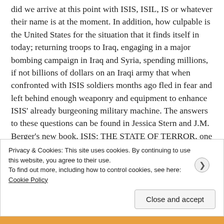did we arrive at this point with ISIS, ISIL, IS or whatever their name is at the moment.  In addition, how culpable is the United States for the situation that it finds itself in today; returning troops to Iraq, engaging in a major bombing campaign in Iraq and Syria, spending millions, if not billions of dollars on an Iraqi army that when confronted with ISIS soldiers months ago fled in fear and left behind enough weaponry and equipment to enhance ISIS' already burgeoning military machine.  The answers to these questions can be found in Jessica Stern and J.M. Berger's new book, ISIS: THE STATE OF TERROR, one of the first books that seriously attempts to analyze the rise of ISIS; concentrating on the fallout from the American
Privacy & Cookies: This site uses cookies. By continuing to use this website, you agree to their use.
To find out more, including how to control cookies, see here: Cookie Policy